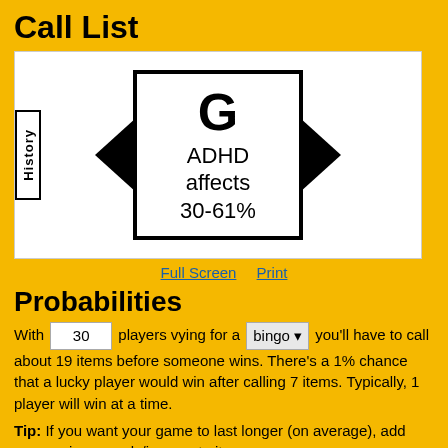Call List
[Figure (other): Bingo call card showing letter G with text 'ADHD affects 30-61%', flanked by black diamond arrows on left and right. A 'History' label box is on the left side.]
Full Screen   Print
Probabilities
With 30 players vying for a bingo you'll have to call about 19 items before someone wins. There's a 1% chance that a lucky player would win after calling 7 items. Typically, 1 player will win at a time.
Tip: If you want your game to last longer (on average), add more unique words/images to it.